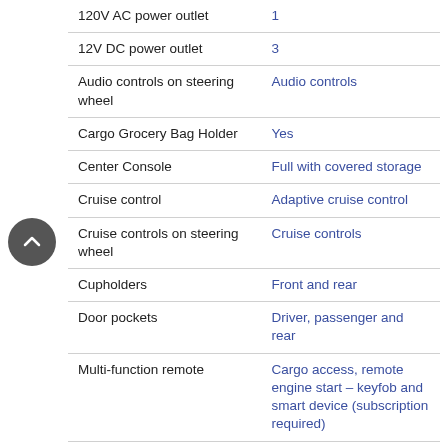| Feature | Value |
| --- | --- |
| 120V AC power outlet | 1 |
| 12V DC power outlet | 3 |
| Audio controls on steering wheel | Audio controls |
| Cargo Grocery Bag Holder | Yes |
| Center Console | Full with covered storage |
| Cruise control | Adaptive cruise control |
| Cruise controls on steering wheel | Cruise controls |
| Cupholders | Front and rear |
| Door pockets | Driver, passenger and rear |
| Multi-function remote | Cargo access, remote engine start – keyfob and smart device (subscription required) |
| Overhead console | Mini with storage |
| Power Activated Trunk/Hatch | Power liftgate |
| Power steering | Speed-proportional electric power ... |